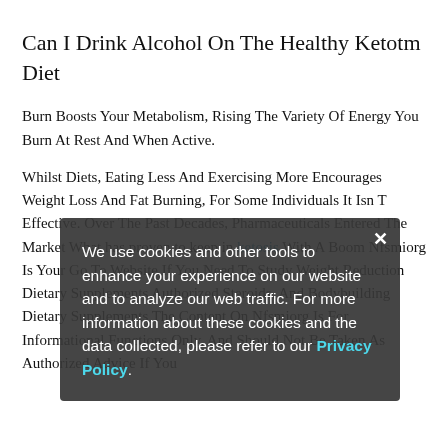Can I Drink Alcohol On The Healthy Ketotm Diet
Burn Boosts Your Metabolism, Rising The Variety Of Energy You Burn At Rest And When Active.
Whilst Diets, Eating Less And Exercising More Encourages Weight Loss And Fat Burning, For Some Individuals It Isn T Effective. Over The Past Decades, Pharmaceuticals Entered The Market What has proven to keep in ketosis With A Boom Nfsmiorg Is Your Go To Website If You Need To Study Weight Reduction Dietary Supplements Authorized Steroids, And Bodybuilding Dietary Supplements The Content On Nfsmiorg Is For Informational Functions Only, And Should Not Be Taken As Authorized Advice If You
We use cookies and other tools to enhance your experience on our website and to analyze our web traffic. For more information about these cookies and the data collected, please refer to our Privacy Policy.